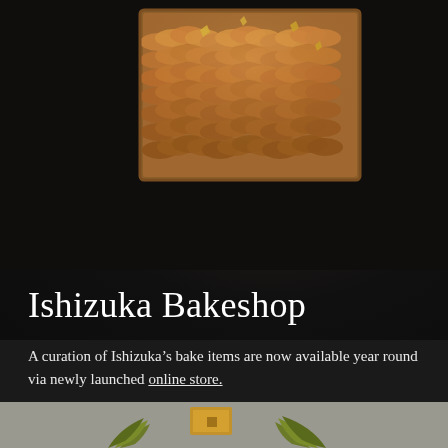[Figure (photo): Close-up top-down photo of a rectangular caramel/apple tart with overlapping thinly-sliced fruit arranged in a wave pattern, garnished with gold leaf, on a dark black background]
Ishizuka Bakeshop
A curation of Ishizuka's bake items are now available year round via newly launched online store.
[Figure (photo): Bottom partial photo showing a golden decorative item or pastry box with green botanical garnish/leaves on a gray surface]